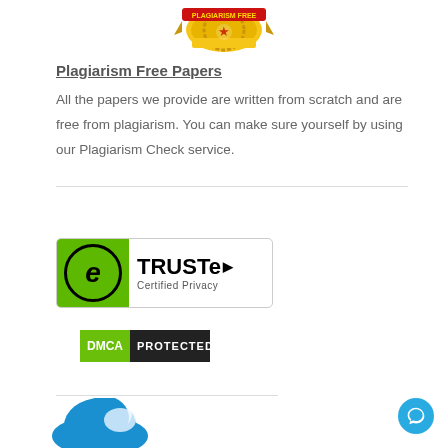[Figure (logo): Plagiarism Free badge/seal — gold ribbon with red and yellow seal at top center]
Plagiarism Free Papers
All the papers we provide are written from scratch and are free from plagiarism. You can make sure yourself by using our Plagiarism Check service.
[Figure (logo): TRUSTe Certified Privacy badge — green icon with stylized 'e' and TRUSTe text]
[Figure (logo): DMCA Protected badge — green DMCA label and black PROTECTED label]
[Figure (logo): Blue bird logo partially visible at bottom left]
[Figure (other): Round blue chat/support button at bottom right]